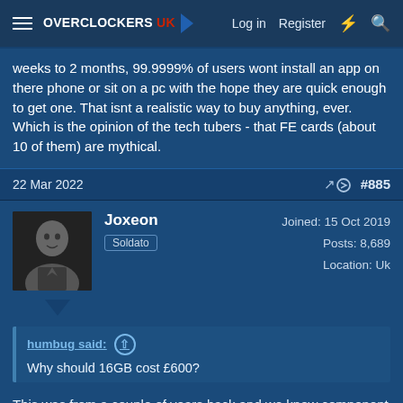OVERCLOCKERS UK — Log in   Register
weeks to 2 months, 99.9999% of users wont install an app on there phone or sit on a pc with the hope they are quick enough to get one. That isnt a realistic way to buy anything, ever. Which is the opinion of the tech tubers - that FE cards (about 10 of them) are mythical.
22 Mar 2022   #885
Joxeon
Soldato
Joined: 15 Oct 2019
Posts: 8,689
Location: Uk
humbug said:
Why should 16GB cost £600?
This was from a couple of years back and we know component prices
This site uses cookies to help personalise content, tailor your experience and to keep you logged in if you register.
By continuing to use this site, you are consenting to our use of cookies.
✓ Accept   Learn more...